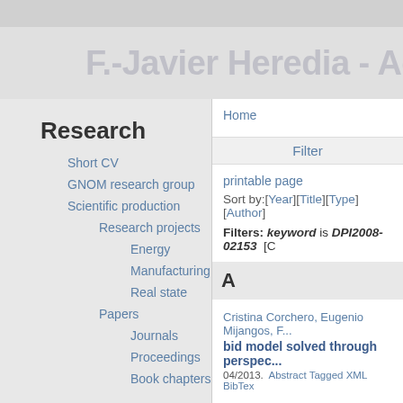F.-Javier Heredia - Academic we...
Research
Short CV
GNOM research group
Scientific production
Research projects
Energy
Manufacturing
Real state
Papers
Journals
Proceedings
Book chapters
Home
Filter
printable page
Sort by:[Year][Title][Type][Author]
Filters: keyword is DPI2008-02153  [C...
A
Cristina Corchero, Eugenio Mijangos, F...
bid model solved through perspec...
04/2013.  Abstract Tagged XML BibTex
F.-Javier Heredia, Cristina Corchero, "A...
the optimal multimarket electricity...
Applications in Economics (OPT 2011)